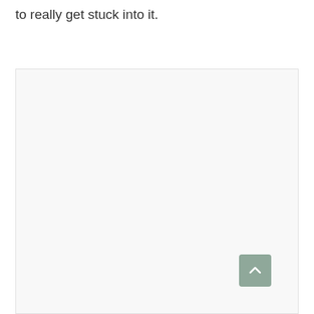to really get stuck into it.
[Figure (other): Large light gray/off-white content area box with a scroll-to-top button (rounded square, muted sage green) in the bottom-right corner, containing an upward chevron arrow.]